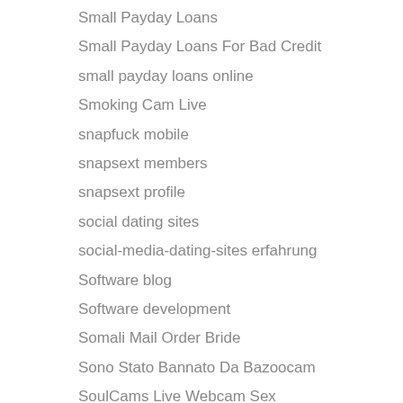Small Payday Loans
Small Payday Loans For Bad Credit
small payday loans online
Smoking Cam Live
snapfuck mobile
snapsext members
snapsext profile
social dating sites
social-media-dating-sites erfahrung
Software blog
Software development
Somali Mail Order Bride
Sono Stato Bannato Da Bazoocam
SoulCams Live Webcam Sex
soulmates login